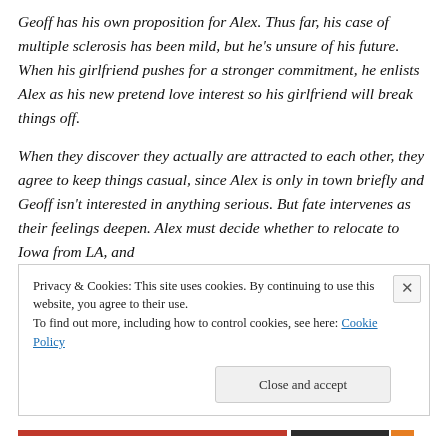Geoff has his own proposition for Alex. Thus far, his case of multiple sclerosis has been mild, but he's unsure of his future. When his girlfriend pushes for a stronger commitment, he enlists Alex as his new pretend love interest so his girlfriend will break things off.
When they discover they actually are attracted to each other, they agree to keep things casual, since Alex is only in town briefly and Geoff isn't interested in anything serious. But fate intervenes as their feelings deepen. Alex must decide whether to relocate to Iowa from LA, and Geoff must have faith in his future.
Privacy & Cookies: This site uses cookies. By continuing to use this website, you agree to their use.
To find out more, including how to control cookies, see here: Cookie Policy